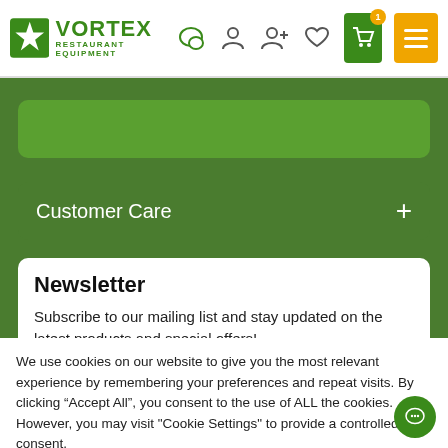Vortex Restaurant Equipment - header navigation with logo, chat, account, add account, wishlist, cart (1), and menu icons
Customer Care +
Newsletter
Subscribe to our mailing list and stay updated on the latest products and special offers!
We use cookies on our website to give you the most relevant experience by remembering your preferences and repeat visits. By clicking “Accept All”, you consent to the use of ALL the cookies. However, you may visit "Cookie Settings" to provide a controlled consent.
Cookie Settings | Accept All